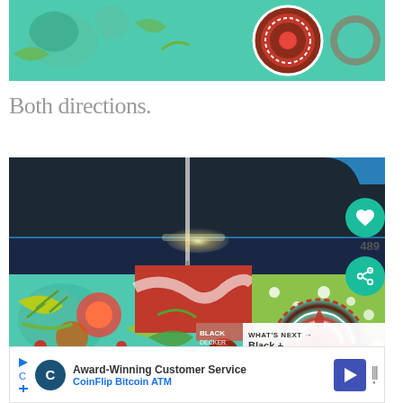[Figure (photo): Close-up of colorful floral quilting fabric with teal, red, and brown circular patterns]
Both directions.
[Figure (photo): Sewing machine stitching through colorful patchwork quilting fabric with teal floral, red, and green dotted patterns, with a heart button (489 likes) and share button overlay, and a 'What's Next' teaser showing Black + Decker item]
Award-Winning Customer Service
CoinFlip Bitcoin ATM